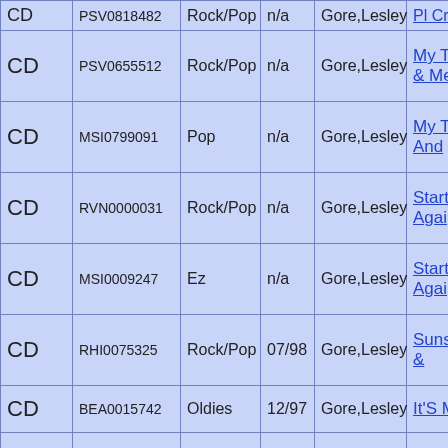| Format | Catalog # | Genre | Date | Artist | Title |
| --- | --- | --- | --- | --- | --- |
| CD | PSV0655512 | Rock/Pop | n/a | Gore,Lesley | My Town, M & Me |
| CD | MSI0799091 | Pop | n/a | Gore,Lesley | My Town, M And |
| CD | RVN0000031 | Rock/Pop | n/a | Gore,Lesley | Start The Par Agai |
| CD | MSI0009247 | Ez | n/a | Gore,Lesley | Start The Par Agai |
| CD | RHI0075325 | Rock/Pop | 07/98 | Gore,Lesley | Sunshine,Lol & |
| CD | BEA0015742 | Oldies | 12/97 | Gore,Lesley | It'S My Party |
| CD | PSC0520388 | Vocals | 05/97 | Gore,Lesley | Best Of |
| CD | POL0532517 | Rock/Pop | 06/96 | Gore,Lesley | It'S My Party |
| CD | MRW0075358 | Rock/Pop | 01/01 | Gore,Lesley | Essential Collection |
| CD | WSD0000873 | Oldies | 12/00 | Gore,Lesley | My Town,My Guyplusme |